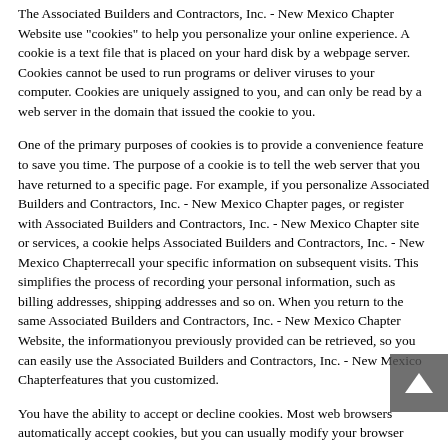The Associated Builders and Contractors, Inc. - New Mexico Chapter Website use "cookies" to help you personalize your online experience. A cookie is a text file that is placed on your hard disk by a webpage server. Cookies cannot be used to run programs or deliver viruses to your computer. Cookies are uniquely assigned to you, and can only be read by a web server in the domain that issued the cookie to you.
One of the primary purposes of cookies is to provide a convenience feature to save you time. The purpose of a cookie is to tell the web server that you have returned to a specific page. For example, if you personalize Associated Builders and Contractors, Inc. - New Mexico Chapter pages, or register with Associated Builders and Contractors, Inc. - New Mexico Chapter site or services, a cookie helps Associated Builders and Contractors, Inc. - New Mexico Chapterrecall your specific information on subsequent visits. This simplifies the process of recording your personal information, such as billing addresses, shipping addresses and so on. When you return to the same Associated Builders and Contractors, Inc. - New Mexico Chapter Website, the informationyou previously provided can be retrieved, so you can easily use the Associated Builders and Contractors, Inc. - New Mexico Chapterfeatures that you customized.
You have the ability to accept or decline cookies. Most web browsers automatically accept cookies, but you can usually modify your browser setting to decline cookies if you prefer. If you choose to decline cookies, you may not be able to fully experience the interactive features of the Associated Builders and Contractors, Inc. - New Mexico Chapter